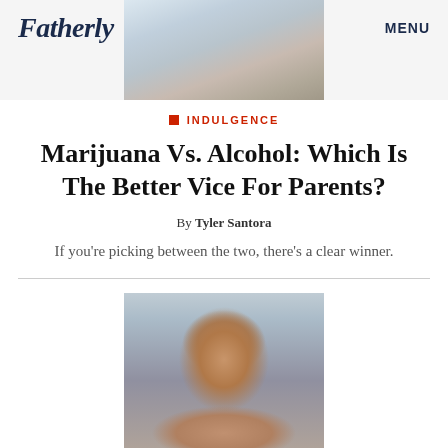Fatherly   MENU
[Figure (photo): Blurred photo of people at a table, used as hero header image]
INDULGENCE
Marijuana Vs. Alcohol: Which Is The Better Vice For Parents?
By Tyler Santora
If you're picking between the two, there's a clear winner.
[Figure (photo): Portrait photo of a young person with short hair looking upward, shown from shoulders up against a gray background]